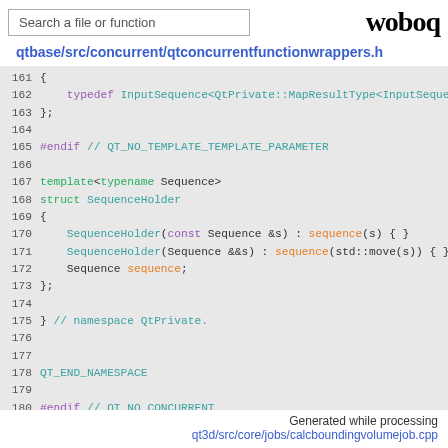Search a file or function | woboq
qtbase/src/concurrent/qtconcurrentfunctionwrappers.h
[Figure (screenshot): Source code viewer showing lines 161-183 of qtconcurrentfunctionwrappers.h with syntax highlighting]
Generated while processing qt3d/src/core/jobs/calcboundingvolumejob.cpp